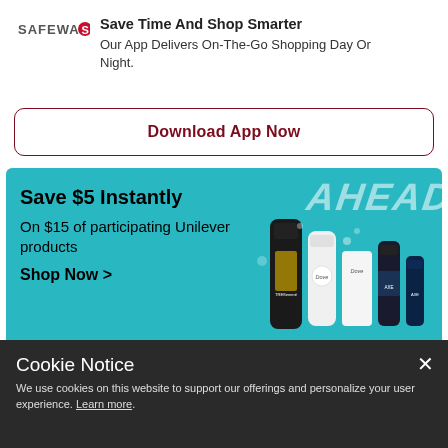Save Time And Shop Smarter
Our App Delivers On-The-Go Shopping Day Or Night.
Download App Now
[Figure (infographic): Safeway app advertisement banner on teal background: Save $5 Instantly on $15 of participating Unilever products. Shop Now >. Shows Dove and TRESemmé product bottles. AHEAD text watermark visible. Sponsored label below.]
Sponsored
Cookie Notice
We use cookies on this website to support our offerings and personalize your user experience. Learn more.